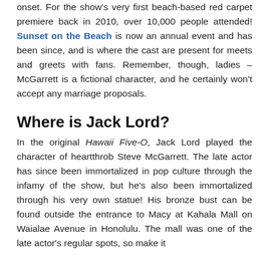onset. For the show's very first beach-based red carpet premiere back in 2010, over 10,000 people attended! Sunset on the Beach is now an annual event and has been since, and is where the cast are present for meets and greets with fans. Remember, though, ladies – McGarrett is a fictional character, and he certainly won't accept any marriage proposals.
Where is Jack Lord?
In the original Hawaii Five-O, Jack Lord played the character of heartthrob Steve McGarrett. The late actor has since been immortalized in pop culture through the infamy of the show, but he's also been immortalized through his very own statue! His bronze bust can be found outside the entrance to Macy at Kahala Mall on Waialae Avenue in Honolulu. The mall was one of the late actor's regular spots, so make it